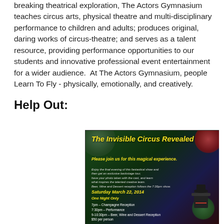breaking theatrical exploration, The Actors Gymnasium teaches circus arts, physical theatre and multi-disciplinary performance to children and adults; produces original, daring works of circus-theatre; and serves as a talent resource, providing performance opportunities to our students and innovative professional event entertainment for a wider audience.  At The Actors Gymnasium, people Learn To Fly - physically, emotionally, and creatively.
Help Out:
[Figure (infographic): Event poster for 'The Invisible Circus Revealed' on a dark green/teal background with decorative circles. Text includes event title in yellow italic bold, subtitle 'Please join us for this magical experience.' in yellow, body description in italic white/grey, date Saturday March 22 2014, One Night Only, schedule: 7pm Champagne Reception, 7:30pm Performance, 9-10:30pm Beer Wine and Dessert Reception, $50 per person.]